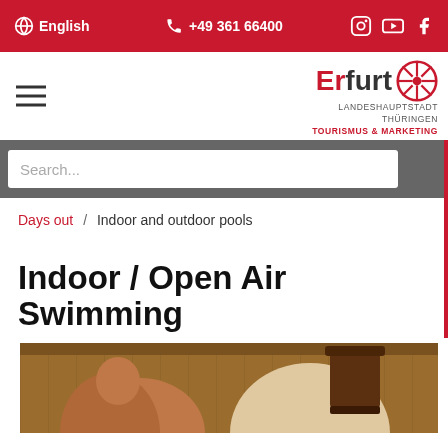English  +49 361 66400
[Figure (logo): Erfurt Landeshauptstadt Thüringen Tourismus & Marketing logo with wheel icon]
Search...
Erfurt Stadtmarketing
Days out / Indoor and outdoor pools
Indoor / Open Air Swimming
[Figure (photo): Photo of two people in a sauna with wooden walls and a wooden bucket in the background]